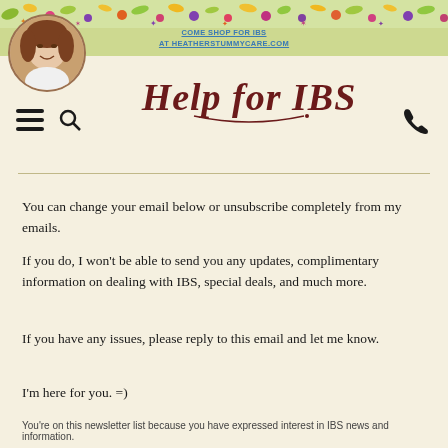COME SHOP FOR IBS AT HEATHERSTUMMYCARE.COM
[Figure (illustration): Decorative floral banner with colorful flowers and leaves across the top of the page]
[Figure (photo): Circular portrait photo of a woman with curly brown hair, smiling]
Help for IBS
You can change your email below or unsubscribe completely from my emails.
If you do, I won't be able to send you any updates, complimentary information on dealing with IBS, special deals, and much more.
If you have any issues, please reply to this email and let me know.
I'm here for you. =)
You're on this newsletter list because you have expressed interest in IBS news and information.